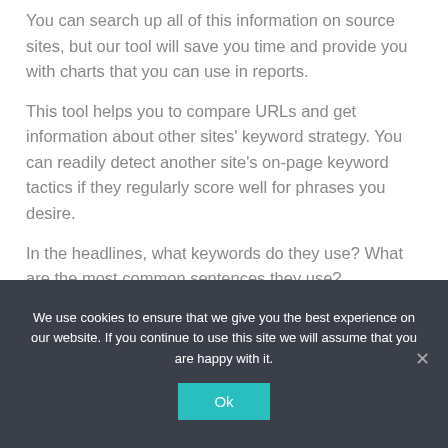You can search up all of this information on source sites, but our tool will save you time and provide you with charts that you can use in reports.
This tool helps you to compare URLs and get information about other sites' keyword strategy. You can readily detect another site's on-page keyword tactics if they regularly score well for phrases you desire.
In the headlines, what keywords do they use? What are the most common sentences they use?
We use cookies to ensure that we give you the best experience on our website. If you continue to use this site we will assume that you are happy with it.